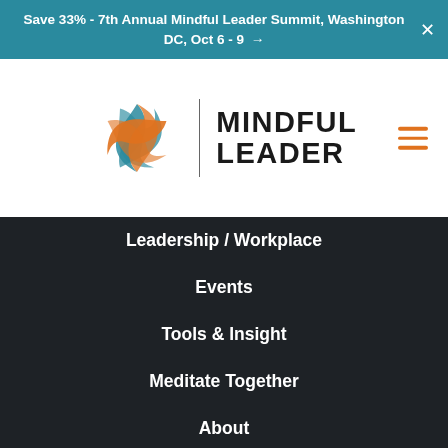Save 33% - 7th Annual Mindful Leader Summit, Washington DC, Oct 6 - 9 →
[Figure (logo): Mindful Leader logo: circular swirl icon in teal and orange, vertical divider, text MINDFUL LEADER in bold black, hamburger menu icon in orange on right]
Leadership / Workplace
Events
Tools & Insight
Meditate Together
About
Contact
Facilitator Directory